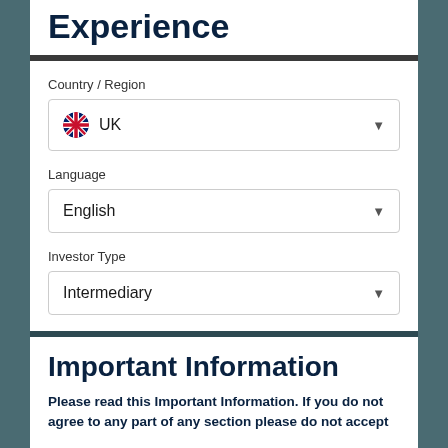Experience
Country / Region
UK
Language
English
Investor Type
Intermediary
Important Information
Please read this Important Information. If you do not agree to any part of any section please do not accept